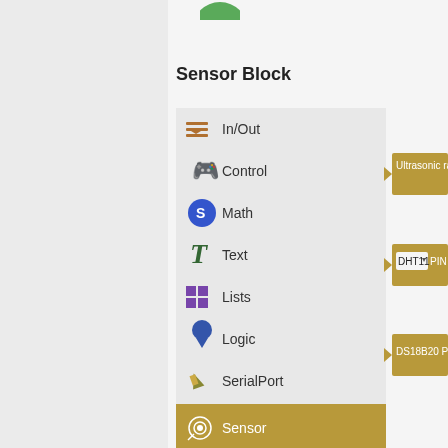Sensor Block
[Figure (screenshot): Block-based programming interface showing a sidebar menu with icons for: In/Out, Control, Math, Text, Lists, Logic, SerialPort, Communicate, and Sensor (highlighted/active in gold). On the right side, partial block elements are visible: 'Ultrasonic rang...', 'DHT11 PIN...', and 'DS18B20 PIN#...' in gold/tan colored blocks with puzzle-piece connectors.]